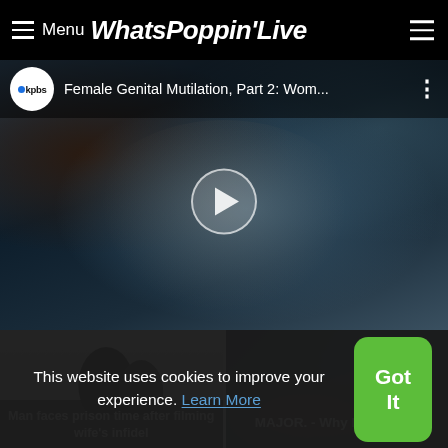≡ Menu WhatsPoppin'Live
[Figure (screenshot): YouTube-style video player showing 'Female Genital Mutilation, Part 2: Wom...' by kpbs channel, with a play button overlay on a dark background image of a person's face]
[Figure (photo): Two silhouettes against light background with caption: Man faces prison time after filming wife's infidel]
[Figure (photo): Guitar and flowers photo with caption: MAJOR. - Why I Love You]
This website uses cookies to improve your experience. Learn More
Got It